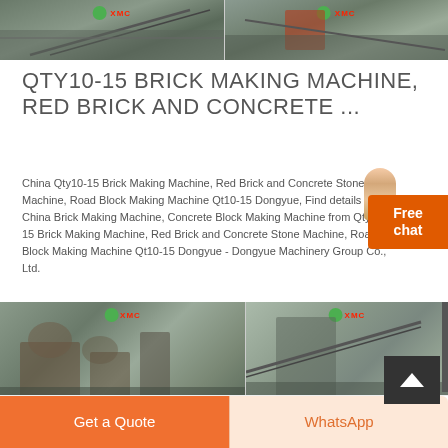[Figure (photo): Two side-by-side photos of a quarry/mining site with conveyors and industrial equipment, both watermarked with XMC logo in green and red]
QTY10-15 BRICK MAKING MACHINE, RED BRICK AND CONCRETE ...
China Qty10-15 Brick Making Machine, Red Brick and Concrete Stone Machine, Road Block Making Machine Qt10-15 Dongyue, Find details about China Brick Making Machine, Concrete Block Making Machine from Qty10-15 Brick Making Machine, Red Brick and Concrete Stone Machine, Road Block Making Machine Qt10-15 Dongyue - Dongyue Machinery Group Co., Ltd.
[Figure (photo): Two side-by-side photos of industrial quarry and crushing machinery, watermarked with XMC logo. Right side has a dark 'back to top' arrow button overlay. Right edge has a narrow sidebar.]
QT10-15 CONCRETE CEMENT SAND CRUSHED STONE AUTOMATIC BLOCK ...
[Figure (other): Free chat widget with woman figure icon in top right area]
Get a Quote
WhatsApp